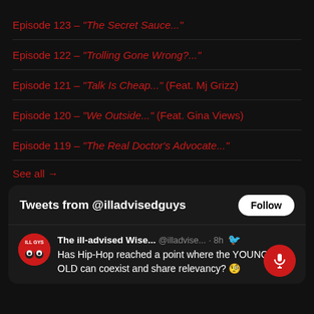Episode 123 – "The Secret Sauce..."
Episode 122 – "Trolling Gone Wrong?..."
Episode 121 – "Talk Is Cheap..." (Feat. Mj Grizz)
Episode 120 – "We Outside..." (Feat. Gina Views)
Episode 119 – "The Real Doctor's Advocate..."
See all →
[Figure (screenshot): Twitter/X embedded widget showing tweets from @illadvisedguys with a Follow button, and a tweet by 'The ill-advised Wise...' (@illadvise... · 8h): 'Has Hip-Hop reached a point where the YOUNG and OLD can coexist and share relevancy? 🧐']